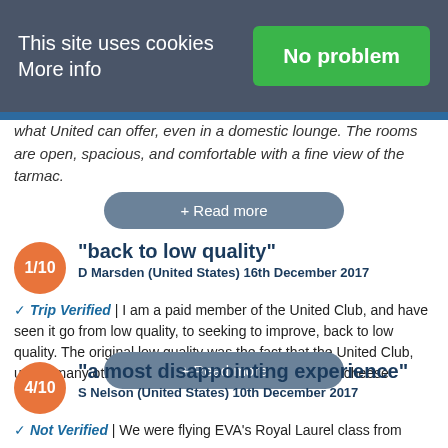This site uses cookies More info | No problem
what United can offer, even in a domestic lounge. The rooms are open, spacious, and comfortable with a fine view of the tarmac.
+ Read more
"back to low quality"
D Marsden (United States) 16th December 2017
✓ Trip Verified | I am a paid member of the United Club, and have seen it go from low quality, to seeking to improve, back to low quality. The original low quality was the fact that the United Club, unlike many others, only offered simple snack items--cheese
+ Read more
"a most disappointing experience"
S Nelson (United States) 10th December 2017
✓ Not Verified | We were flying EVA's Royal Laurel class from